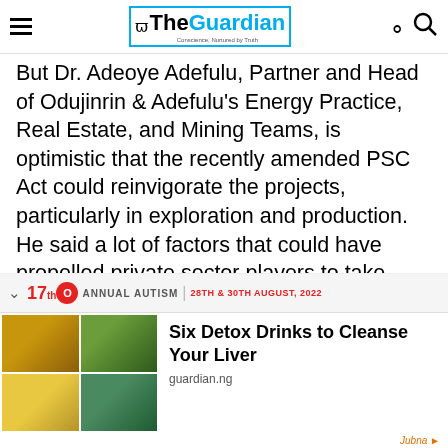The Guardian - Conscience, Nurtured by Truth
But Dr. Adeoye Adefulu, Partner and Head of Odujinrin & Adefulu's Energy Practice, Real Estate, and Mining Teams, is optimistic that the recently amended PSC Act could reinvigorate the projects, particularly in exploration and production. He said a lot of factors that could have propelled private sector players to take quick decisions on some of the project are yet to be addressed, adding that the government must muster political will.
[Figure (advertisement): Advertisement banner showing 12th Annual Autism event with date 28th & 30th August 2022, partially visible]
[Figure (advertisement): Ad card: Six Detox Drinks to Cleanse Your Liver - guardian.ng, with food/drink image grid showing teas and herbal drinks, sourced via Jubna]